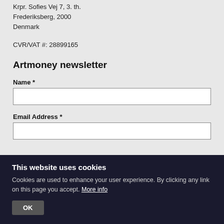Krpr. Sofies Vej 7, 3. th.
Frederiksberg, 2000
Denmark
CVR/VAT #: 28899165
Artmoney newsletter
Name *
Email Address *
This website uses cookies
Cookies are used to enhance your user experience. By clicking any link on this page you accept. More info
OK